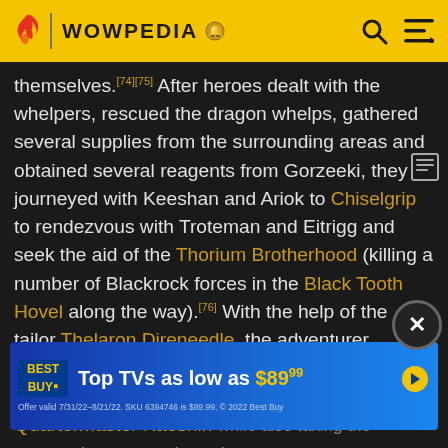WOWPEDIA
themselves.[74][75] After heroes dealt with the whelpers, rescued the dragon whelps, gathered several supplies from the surrounding areas and obtained several reagents from Gorzeeki, they journeyed with Keeshan and Ariok to Chiselgrip to rendezvous with Troteman and Eitrigg and seek the aid of the Thorium Brotherhood (killing a number of Blackrock forces in the Black Tooth Hovel along the way).[76] With the help of the tailor Thelaron Direneedle, the adventurer constructed a disguise and infiltrated the ranks of the Blackrock clan,[77][78] polishing boots for Quartermaster Kaoshin while also taking the opportunity to assassinate three prominent... Kaoshin... the...
[Figure (screenshot): Best Buy advertisement banner: Top TVs as low as $89.99. Offer valid 7/31/22-8/21/22. SKU 6394746 is $89.99. © 2022 Best Buy]